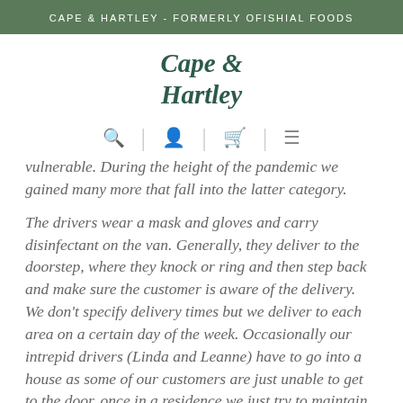CAPE & HARTLEY - FORMERLY OFISHIAL FOODS
[Figure (logo): Cape & Hartley logo in dark teal serif handwriting style]
[Figure (infographic): Navigation bar with search, user, basket, and menu icons separated by vertical lines]
vulnerable. During the height of the pandemic we gained many more that fall into the latter category.
The drivers wear a mask and gloves and carry disinfectant on the van. Generally, they deliver to the doorstep, where they knock or ring and then step back and make sure the customer is aware of the delivery. We don't specify delivery times but we deliver to each area on a certain day of the week. Occasionally our intrepid drivers (Linda and Leanne) have to go into a house as some of our customers are just unable to get to the door, once in a residence we just try to maintain a safe